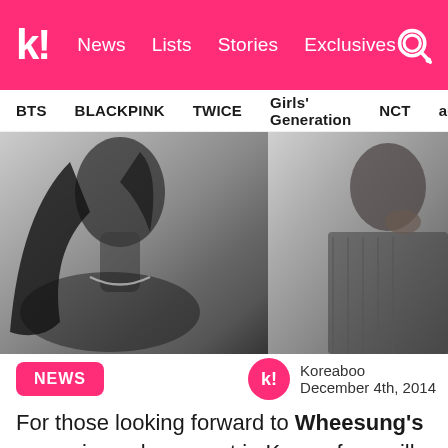k! News Lists Stories Exclusives
BTS  BLACKPINK  TWICE  Girls' Generation  NCT  aespa
[Figure (photo): Two black and white portrait photos side by side: on the left, a woman with long dark hair wearing a necklace, shown in profile/side view; on the right, a man in a patterned shirt resting his chin on his hand, wearing a watch.]
NEWS
Koreaboo
December 4th, 2014
For those looking forward to Wheesung's upcoming solo concert in Korea, fans will be